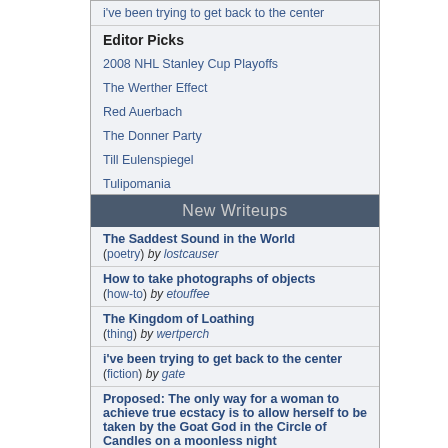i've been trying to get back to the center
Editor Picks
2008 NHL Stanley Cup Playoffs
The Werther Effect
Red Auerbach
The Donner Party
Till Eulenspiegel
Tulipomania
New Writeups
The Saddest Sound in the World (poetry) by lostcauser
How to take photographs of objects (how-to) by etouffee
The Kingdom of Loathing (thing) by wertperch
i've been trying to get back to the center (fiction) by gate
Proposed: The only way for a woman to achieve true ecstacy is to allow herself to be taken by the Goat God in the Circle of Candles on a moonless night (poetry) by Pandeism Fish
What Difference Does It Make